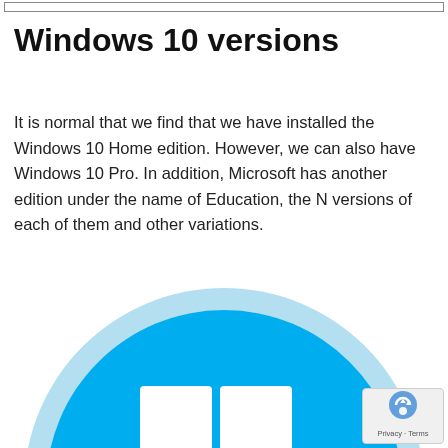Windows 10 versions
It is normal that we find that we have installed the Windows 10 Home edition. However, we can also have Windows 10 Pro. In addition, Microsoft has another edition under the name of Education, the N versions of each of them and other variations.
[Figure (logo): Windows 10 logo — a circular badge with a light blue outer ring and bright blue interior, containing a white four-pane Windows window icon in the lower center.]